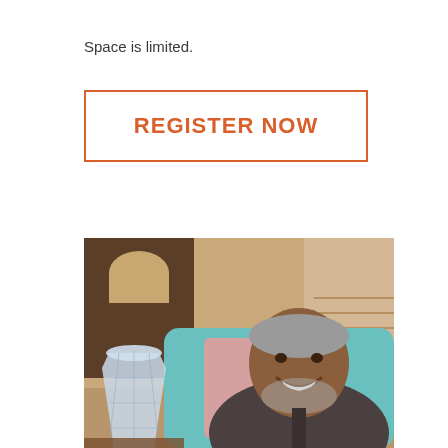Space is limited.
REGISTER NOW
[Figure (photo): A smiling older man with gray hair and beard sitting in a teal armchair. In the foreground to the left is a crystal vase on a table. The background shows an interior room with a staircase and arched window.]